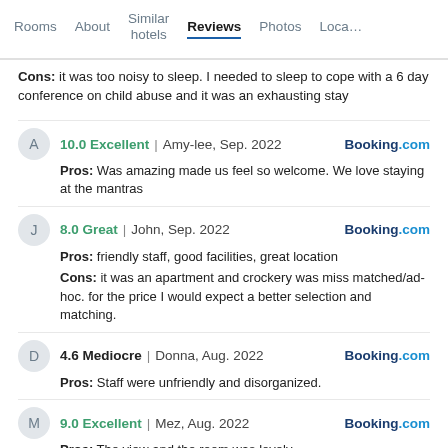Rooms | About | Similar hotels | Reviews | Photos | Loca…
Cons: It was too noisy to sleep. I needed to sleep to cope with a 6 day conference on child abuse and it was an exhausting stay
10.0 Excellent | Amy-lee, Sep. 2022 | Booking.com
Pros: Was amazing made us feel so welcome. We love staying at the mantras
8.0 Great | John, Sep. 2022 | Booking.com
Pros: friendly staff, good facilities, great location
Cons: it was an apartment and crockery was miss matched/ad-hoc. for the price I would expect a better selection and matching.
4.6 Mediocre | Donna, Aug. 2022 | Booking.com
Pros: Staff were unfriendly and disorganized.
9.0 Excellent | Mez, Aug. 2022 | Booking.com
Pros: The view and the room was lovely.
Cons: Bathroom needs a modern upgrade.